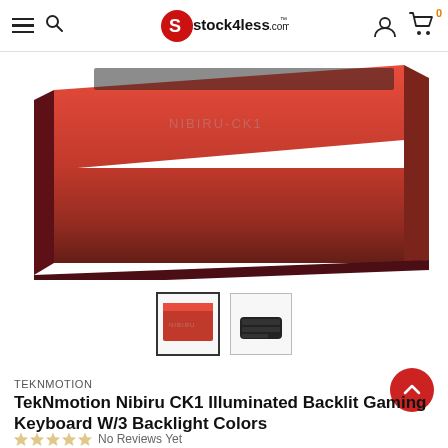stock4less.com
[Figure (photo): Product photo of TekNmotion Nibiru CK1 keyboard box, red packaging with NIBIRU-CK1 branding, partial top view]
[Figure (photo): Thumbnail 1: keyboard box packaging (selected)]
[Figure (photo): Thumbnail 2: keyboard device, dark color]
TEKNMOTION
TekNmotion Nibiru CK1 Illuminated Backlit Gaming Keyboard W/3 Backlight Colors
No Reviews Yet
PRODUCT CODE:  154435999655